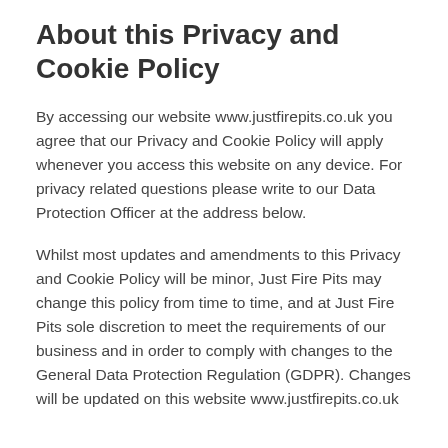About this Privacy and Cookie Policy
By accessing our website www.justfirepits.co.uk you agree that our Privacy and Cookie Policy will apply whenever you access this website on any device. For privacy related questions please write to our Data Protection Officer at the address below.
Whilst most updates and amendments to this Privacy and Cookie Policy will be minor, Just Fire Pits may change this policy from time to time, and at Just Fire Pits sole discretion to meet the requirements of our business and in order to comply with changes to the General Data Protection Regulation (GDPR). Changes will be updated on this website www.justfirepits.co.uk